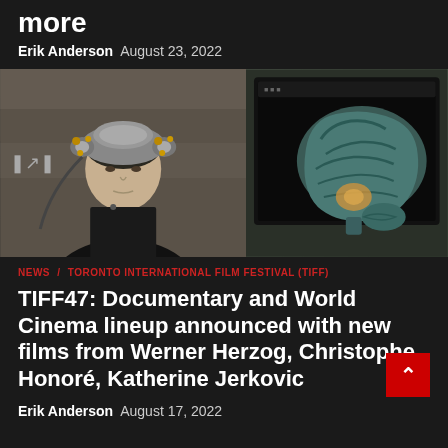more
Erik Anderson  August 23, 2022
[Figure (photo): Split image: left side shows a person wearing a futuristic brain-scanning helmet with gold and silver nodes, dressed in black against a stone wall background; right side shows a monitor displaying a 3D blue-green brain model on a dark background.]
NEWS / TORONTO INTERNATIONAL FILM FESTIVAL (TIFF)
TIFF47: Documentary and World Cinema lineup announced with new films from Werner Herzog, Christophe Honoré, Katherine Jerkovic
Erik Anderson  August 17, 2022